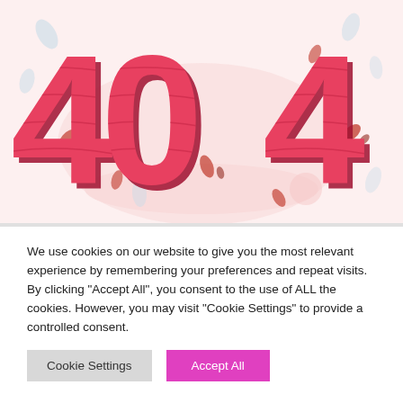[Figure (illustration): Large decorative 404 error illustration with red 3D-style numerals on a light pink background, with scattered leaves and soft shapes]
We use cookies on our website to give you the most relevant experience by remembering your preferences and repeat visits. By clicking "Accept All", you consent to the use of ALL the cookies. However, you may visit "Cookie Settings" to provide a controlled consent.
Cookie Settings
Accept All